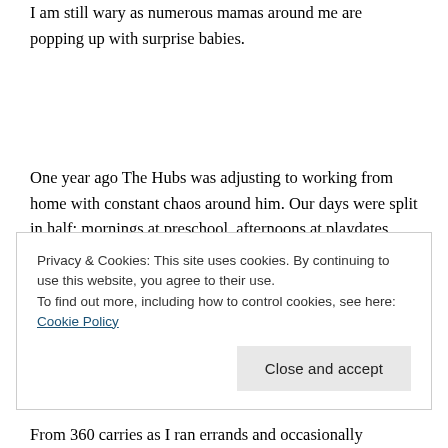I am still wary as numerous mamas around me are popping up with surprise babies.
One year ago The Hubs was adjusting to working from home with constant chaos around him. Our days were split in half: mornings at preschool, afternoons at playdates, with a brief respite in the middle for the boys' naptime. The Hubs had yet to determine the
Privacy & Cookies: This site uses cookies. By continuing to use this website, you agree to their use.
To find out more, including how to control cookies, see here: Cookie Policy
From 360 carries as I ran errands and occasionally